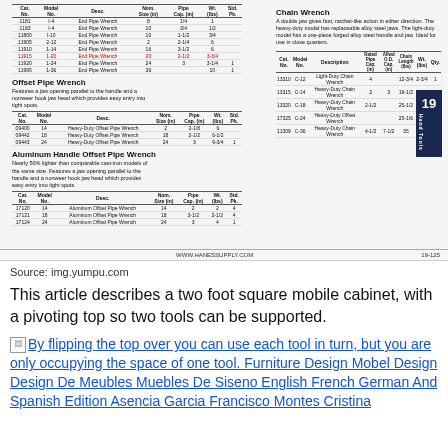[Figure (screenshot): Catalog page showing Offset Pipe Wrench, Aluminum Handle Offset Pipe Wrench sections with product tables and tool images, and Chain Wrench section on right side. Page number 19 shown in navy box. Footer shows www.hanessupply.com and page 19-125.]
Source: img.yumpu.com
This article describes a two foot square mobile cabinet, with a pivoting top so two tools can be supported.
By flipping the top over you can use each tool in turn, but you are only occupying the space of one tool. Furniture Design Mobel Design Design De Meubles Muebles De Siseno English French German And Spanish Edition Asencia Garcia Francisco Montes Cristina...